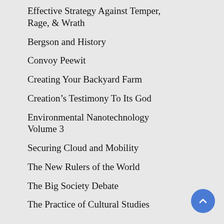Effective Strategy Against Temper, Rage, & Wrath
Bergson and History
Convoy Peewit
Creating Your Backyard Farm
Creation's Testimony To Its God
Environmental Nanotechnology Volume 3
Securing Cloud and Mobility
The New Rulers of the World
The Big Society Debate
The Practice of Cultural Studies